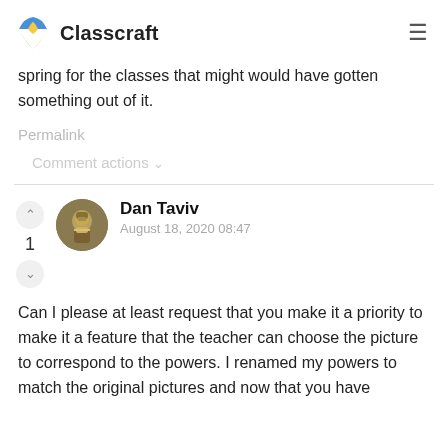Classcraft
spring for the classes that might would have gotten something out of it.
Permalink
Comment actions ∨
Dan Taviv
August 18, 2020 08:47
Can I please at least request that you make it a priority to make it a feature that the teacher can choose the picture to correspond to the powers. I renamed my powers to match the original pictures and now that you have